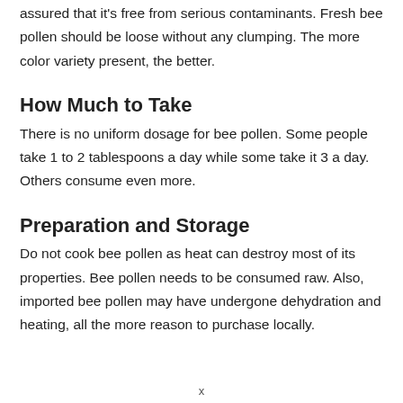assured that it's free from serious contaminants. Fresh bee pollen should be loose without any clumping. The more color variety present, the better.
How Much to Take
There is no uniform dosage for bee pollen. Some people take 1 to 2 tablespoons a day while some take it 3 a day. Others consume even more.
Preparation and Storage
Do not cook bee pollen as heat can destroy most of its properties. Bee pollen needs to be consumed raw. Also, imported bee pollen may have undergone dehydration and heating, all the more reason to purchase locally.
x